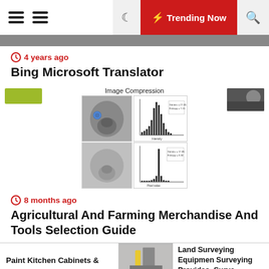Trending Now
4 years ago
Bing Microsoft Translator
[Figure (photo): Image Compression scientific figure showing two grayscale images of a face/nose and their corresponding histograms, plus a thumbnail photo on the right and a green banner on the left]
8 months ago
Agricultural And Farming Merchandise And Tools Selection Guide
Paint Kitchen Cabinets &     Land Surveying Equipmen Surveying Provides, Surve